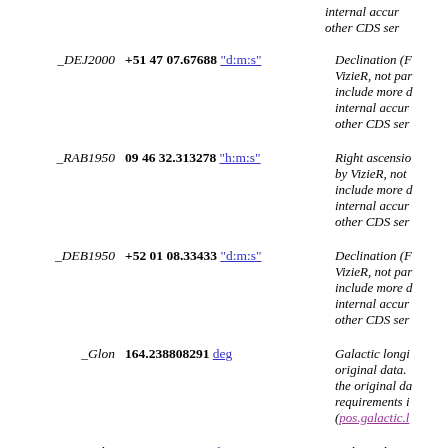internal accur... other CDS ser...
_DEJ2000   +51 47 07.67688 "d:m:s"   Declination (F... VizieR, not par... include more d... internal accur... other CDS ser...
_RAB1950   09 46 32.313278 "h:m:s"   Right ascensio... by VizieR, not ... include more d... internal accur... other CDS ser...
_DEB1950   +52 01 08.33433 "d:m:s"   Declination (F... VizieR, not par... include more d... internal accur... other CDS ser...
_Glon   164.238808291 deg   Galactic longi... original data. the original da... requirements i... (pos.galactic.l...
_Glat   +48.150486603 deg   Galactic latitu... original data.